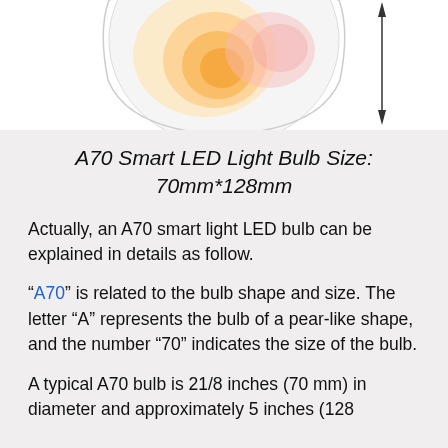[Figure (illustration): Partial diagram of an A70 smart LED light bulb showing the bulb shape with a warm yellow/orange glow and a vertical measurement arrow on the right side, on a white background.]
A70 Smart LED Light Bulb Size: 70mm*128mm
Actually, an A70 smart light LED bulb can be explained in details as follow.
“A70” is related to the bulb shape and size. The letter “A” represents the bulb of a pear-like shape, and the number “70” indicates the size of the bulb.
A typical A70 bulb is 21/8 inches (70 mm) in diameter and approximately 5 inches (128